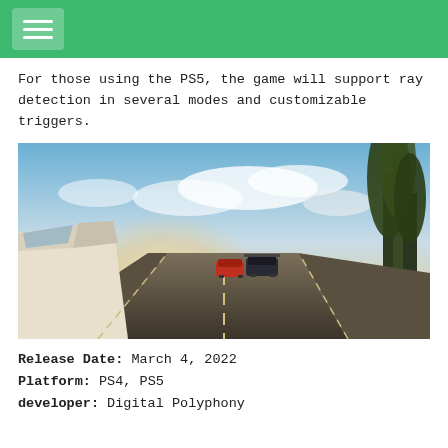Navigation menu header bar
For those using the PS5, the game will support ray detection in several modes and customizable triggers.
[Figure (photo): Racing game screenshot showing sports cars racing on a winding road through a forest with dramatic sunlit sky]
Release Date: March 4, 2022
Platform: PS4, PS5
developer: Digital Polyphony